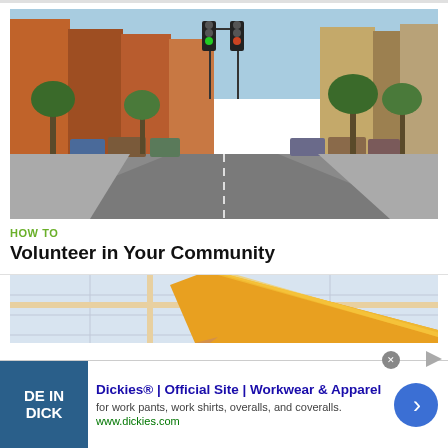[Figure (photo): Street-level view of a small-town American main street with brick buildings on both sides, parked cars, green traffic lights, and trees lining the road.]
HOW TO
Volunteer in Your Community
[Figure (photo): Partial view of a pencil resting on a map, cropped view showing orange pencil and map in background.]
Dickies® | Official Site | Workwear & Apparel
for work pants, work shirts, overalls, and coveralls.
www.dickies.com